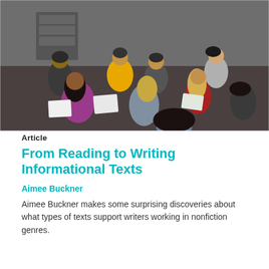[Figure (photo): Classroom photo showing a group of elementary school children sitting on the floor in a circle, engaged in a reading or writing activity. Children of various ethnicities are visible, some wearing colorful clothing including a yellow sweater and purple top.]
Article
From Reading to Writing Informational Texts
Aimee Buckner
Aimee Buckner makes some surprising discoveries about what types of texts support writers working in nonfiction genres.